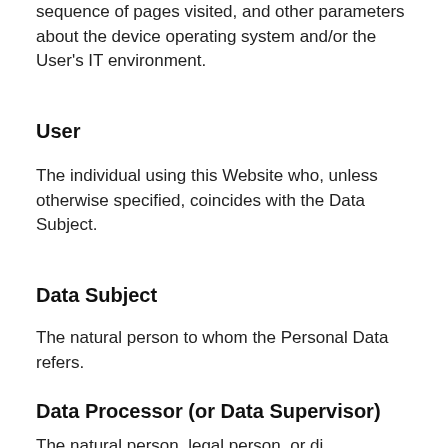sequence of pages visited, and other parameters about the device operating system and/or the User's IT environment.
User
The individual using this Website who, unless otherwise specified, coincides with the Data Subject.
Data Subject
The natural person to whom the Personal Data refers.
Data Processor (or Data Supervisor)
The natural person, legal person, or di…